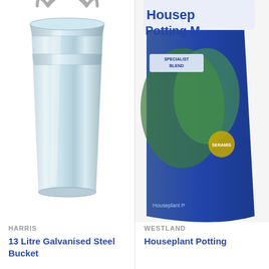[Figure (photo): Galvanised steel bucket product photo on white background]
HARRIS
13 Litre Galvanised Steel Bucket
[Figure (photo): Westland Houseplant Potting Mix bag product photo on white background]
WESTLAND
Houseplant Potting
£5.99
This website uses cookies to ensure you get the best experience on our website. Cookies may also be used for Personalised advertising.  Learn More
Accept & Close